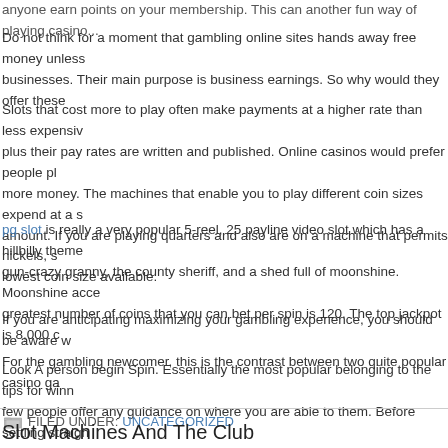anyone earn points on your membership. This can another fun way of playing casino...
Do not think for a moment that gambling online sites hands away free money unless businesses. Their main purpose is business earnings. So why would they offer these
Slots that cost more to play often make payments at a higher rate than less expensive plus their pay rates are written and published. Online casinos would prefer people pla more money. The machines that enable you to play different coin sizes expend at a s amount. If you are playing quarters and also are on a machine that permits nickels, s lowest coin size available.
pg slot is really a very popular 5-reel, 25 payline video slot which has a hillbilly theme gun-crazy granny, the county sheriff, and a shed full of moonshine. Moonshine acce greatest number of coins that you can bet per spin is 120. The top jackpot is 8,000 c
If you are anticipating maximizing your gambling experience, you should be aware w For the gambling newcomer, this is the contrast between two quite popular casino ga
Look A person begin Spin. Essentially the most popular belonging to the tips for winn few people offer any guidance on where you are able to them. Before settling straigh A machine with a large number of winning combinations one is more likely to be "loos
FILED UNDER: UNCATEGORIZED
Slot Machines And The Club